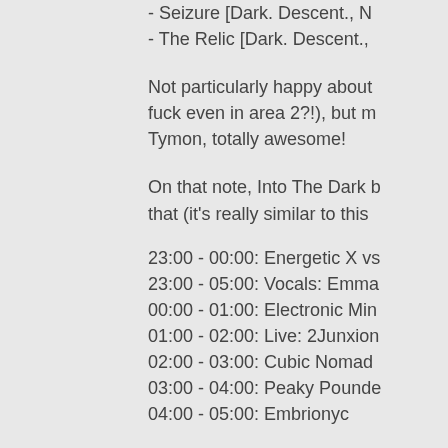- Seizure [Dark. Descent., N
- The Relic [Dark. Descent.,
Not particularly happy about fuck even in area 2?!), but m Tymon, totally awesome!
On that note, Into The Dark b that (it's really similar to this
23:00 - 00:00: Energetic X vs
23:00 - 05:00: Vocals: Emma
00:00 - 01:00: Electronic Min
01:00 - 02:00: Live: 2Junxion
02:00 - 03:00: Cubic Nomad
03:00 - 04:00: Peaky Pounde
04:00 - 05:00: Embrionyc
Partyflock states the line-up Enrico (Embrionyc/Energetic But goddamn, EME vs Soun It's weird cuz those two are t can't wait  O